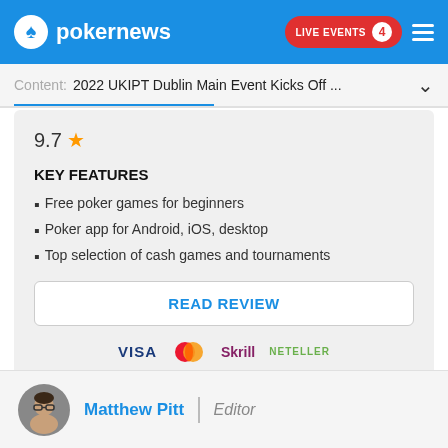pokernews | LIVE EVENTS 4
Content: 2022 UKIPT Dublin Main Event Kicks Off ...
9.7 ★
KEY FEATURES
Free poker games for beginners
Poker app for Android, iOS, desktop
Top selection of cash games and tournaments
READ REVIEW
[Figure (logo): Payment method logos: VISA, Mastercard, Skrill, NETELLER]
Matthew Pitt | Editor